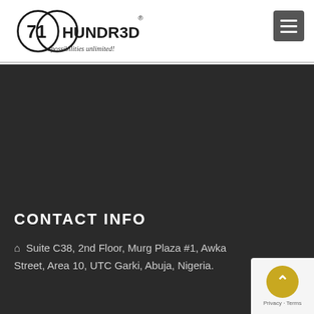71HUNDRED ...possibilities unlimited!
CONTACT INFO
Suite C38, 2nd Floor, Murg Plaza #1, Awka Street, Area 10, UTC Garki, Abuja, Nigeria.